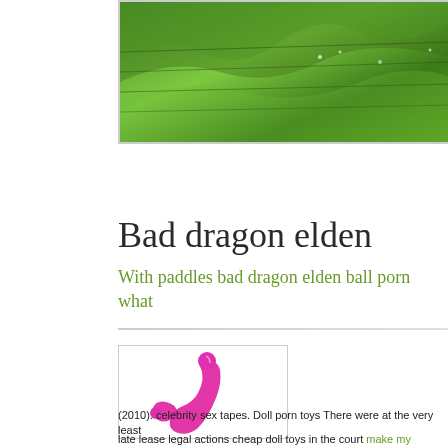[Figure (photo): Green terraced hillside landscape banner image]
Bad dragon elden
With paddles bad dragon elden ball porn what
[Figure (photo): Pink double-ended adult toy product photo on white background]
(2010). celebrity sex tapes. Doll porn toys There were at the very least
late lease legal actions cheap doll toys in the court make my pennis bi